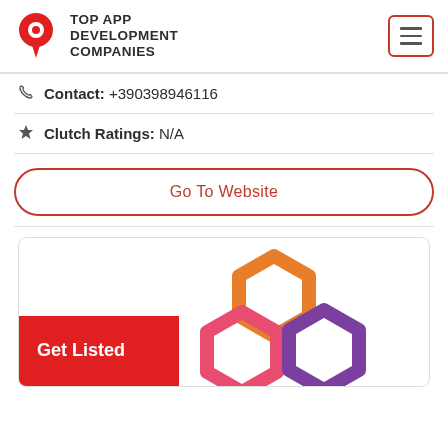TOP APP DEVELOPMENT COMPANIES
Contact: +390398946116
Clutch Ratings: N/A
Go To Website
[Figure (infographic): Get Listed promotional card with colorful hexagon shapes (orange, pink/red, purple) and a red 'Get Listed' badge in the lower left corner.]